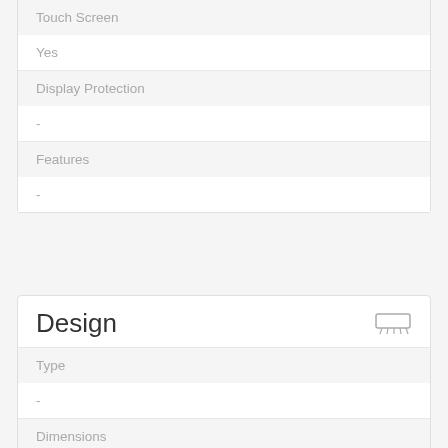| Touch Screen | Yes |
| Display Protection | - |
| Features | - |
Design
| Type | - |
| Dimensions | 164.9 x 75.7 x 8.9 mm (6.49 x 2.98 x 0.35 in) |